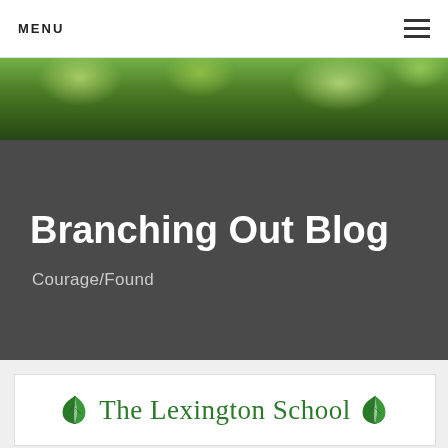MENU
[Figure (photo): Outdoor photo strip showing children or people among green trees and foliage, viewed from below]
Branching Out Blog
Courage/Found
[Figure (logo): The Lexington School logo with green oak leaf icons on either side of the school name in serif green text]